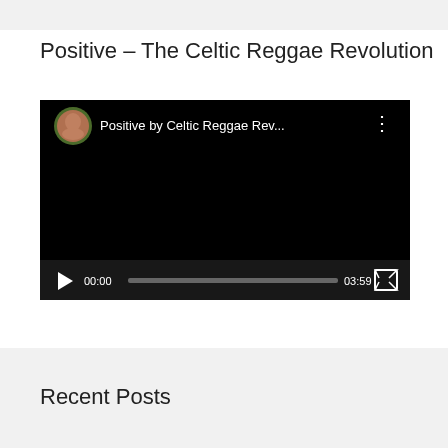Positive – The Celtic Reggae Revolution
[Figure (screenshot): Embedded video player showing 'Positive by Celtic Reggae Rev...' with avatar, play button, progress bar showing 00:00 and 03:59 duration, and fullscreen button on black background]
Recent Posts